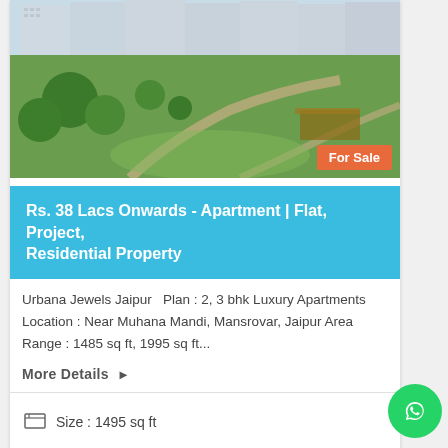[Figure (photo): Aerial/elevated view of a luxury apartment complex with multiple high-rise towers, green lawns, trees, and winding pathways. Badge reads 'For Sale'.]
Rs. 38 Lacs Onwards - Apartment | Flat, Project, Residential Property
Urbana Jewels Jaipur  Plan : 2, 3 bhk Luxury Apartments
Location : Near Muhana Mandi, Mansrovar, Jaipur Area
Range : 1485 sq ft, 1995 sq ft...
More Details ▶
Size : 1495 sq ft
2 Bedrooms